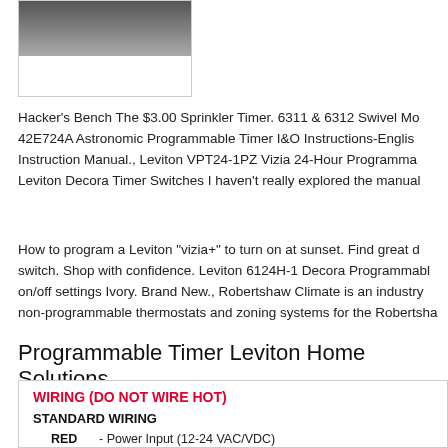[Figure (photo): Partial product photo (cropped at top), showing a device with dark upper portion and white lower portion, enclosed in a light border.]
Hacker's Bench The $3.00 Sprinkler Timer. 6311 & 6312 Swivel Mo 42E724A Astronomic Programmable Timer I&O Instructions-Englis Instruction Manual., Leviton VPT24-1PZ Vizia 24-Hour Programma Leviton Decora Timer Switches I haven't really explored the manual
How to program a Leviton "vizia+" to turn on at sunset. Find great d switch. Shop with confidence. Leviton 6124H-1 Decora Programmabl on/off settings Ivory. Brand New., Robertshaw Climate is an industry non-programmable thermostats and zoning systems for the Robertsha
Programmable Timer Leviton Home Solutions
[Figure (schematic): Wiring diagram box with heading 'WIRING (DO NOT WIRE HOT)' in red bold text, followed by 'STANDARD WIRING' in bold, then wiring color codes: RED - Power Input (12-24 VAC/VDC), BLACK - Common, WHITE - Occupancy State (high VDC for occupied).]